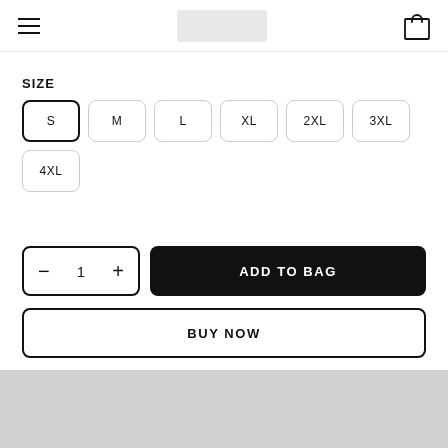[hamburger menu] [logo placeholder] [bag icon]
SIZE
S (selected), M, L, XL, 2XL, 3XL, 4XL
- 1 +
ADD TO BAG
BUY NOW